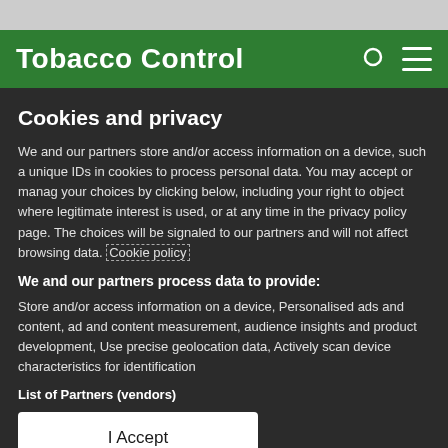Tobacco Control
Cookies and privacy
We and our partners store and/or access information on a device, such a unique IDs in cookies to process personal data. You may accept or manage your choices by clicking below, including your right to object where legitimate interest is used, or at any time in the privacy policy page. These choices will be signaled to our partners and will not affect browsing data. Cookie policy
We and our partners process data to provide:
Store and/or access information on a device, Personalised ads and content, ad and content measurement, audience insights and product development, Use precise geolocation data, Actively scan device characteristics for identification
List of Partners (vendors)
I Accept